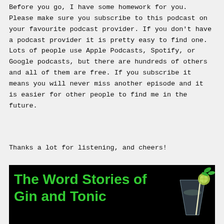Before you go, I have some homework for you. Please make sure you subscribe to this podcast on your favourite podcast provider. If you don't have a podcast provider it is pretty easy to find one. Lots of people use Apple Podcasts, Spotify, or Google podcasts, but there are hundreds of others and all of them are free. If you subscribe it means you will never miss another episode and it is easier for other people to find me in the future.
Thanks a lot for listening, and cheers!
[Figure (illustration): Dark background promotional image with green bold text reading 'The Word Stories of Gin and Tonic' and a cocktail glass with garnish on the right side]